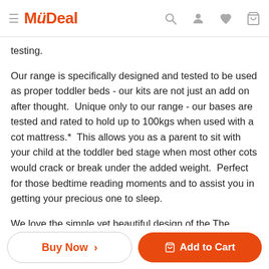MyDeal
testing.
Our range is specifically designed and tested to be used as proper toddler beds - our kits are not just an add on after thought.  Unique only to our range - our bases are tested and rated to hold up to 100kgs when used with a cot mattress.*  This allows you as a parent to sit with your child at the toddler bed stage when most other cots would crack or break under the added weight.  Perfect for those bedtime reading moments and to assist you in getting your precious one to sleep.
We love the simple yet beautiful design of the The Boston Cot.  The simplicity translates easily to both modern and contemporary interiors to give you the nursery you've always dreamed of.  It wor